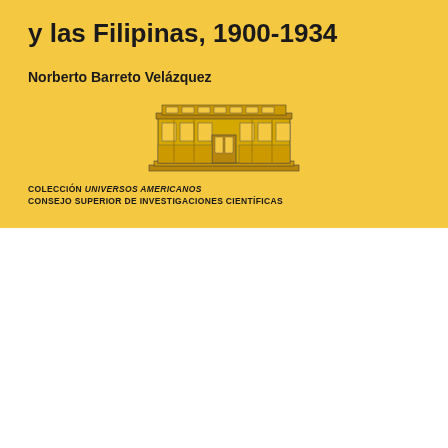y las Filipinas, 1900-1934
Norberto Barreto Velázquez
[Figure (illustration): Illustration of a multi-storey classical building facade (institutional building), rendered in black and white line art style.]
COLECCIÓN UNIVERSOS AMERICANOS
CONSEJO SUPERIOR DE INVESTIGACIONES CIENTÍFICAS
Revista Complutense de Historia de América
ISSN: 1132-8312
https://dx.doi.org/ 10.5209/rcha.69420
ARTÍCULOS
EDICIONES COMPLUTENSE
La perversión de la ayuda estadounidense: el Congreso de Estados Unidos y la crisis de los Mirage peruanos¹
Norberto Barreto Velázquez²